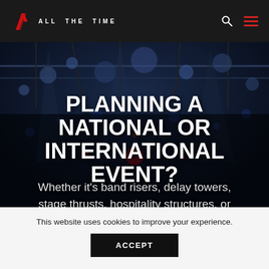ALL THE TIME
PLANNING A NATIONAL OR INTERNATIONAL EVENT?
Whether it’s band risers, delay towers, stage thrusts, hospitality structures, or
This website uses cookies to improve your experience.
ACCEPT